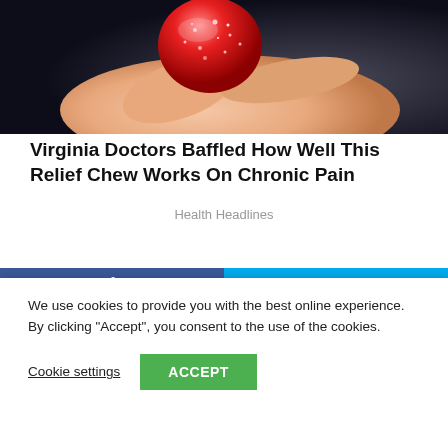[Figure (photo): Close-up photo of a hand holding a red sugar-coated gummy candy/chew against a dark background]
Virginia Doctors Baffled How Well This Relief Chew Works On Chronic Pain
Health Headlines
We use cookies to provide you with the best online experience. By clicking "Accept", you consent to the use of the cookies.